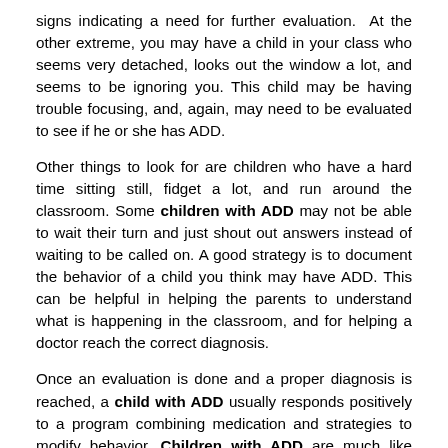signs indicating a need for further evaluation.  At the other extreme, you may have a child in your class who seems very detached, looks out the window a lot, and seems to be ignoring you. This child may be having trouble focusing, and, again, may need to be evaluated to see if he or she has ADD.
Other things to look for are children who have a hard time sitting still, fidget a lot, and run around the classroom. Some children with ADD may not be able to wait their turn and just shout out answers instead of waiting to be called on. A good strategy is to document the behavior of a child you think may have ADD. This can be helpful in helping the parents to understand what is happening in the classroom, and for helping a doctor reach the correct diagnosis.
Once an evaluation is done and a proper diagnosis is reached, a child with ADD usually responds positively to a program combining medication and strategies to modify behavior. Children with ADD are much like other children with disabilities, in that teachers can be most helpful to them if they understand the disorder and are willing to modify the classroom program to accommodate them. This, of course, assumes that the teacher knows what problem the child has. You can work with special education teachers, school